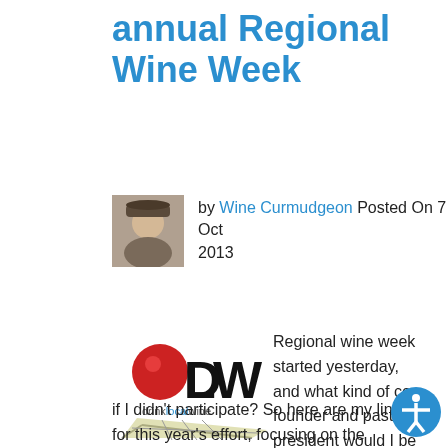annual Regional Wine Week
by Wine Curmudgeon Posted On 7 Oct 2013
[Figure (logo): drinklocalwine logo with red circle and DLW letters, with a map/road graphic below]
Regional wine week started yesterday, and what kind of co-founder and past president would I be if I didn't participate? So here are my links for this year's effort, focusing on the changes in Texas wine since I started writing about it: